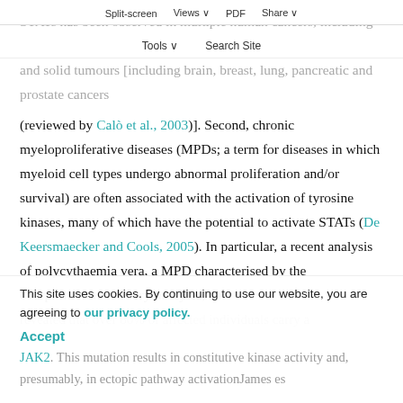Split-screen  Views  PDF  Share
Tools  Search Site
STATs has been observed in multiple human cancers, including blood malignancies(such as leukaemias, lymphomas and myelomas) and solid tumours [including brain, breast, lung, pancreatic and prostate cancers (reviewed by Calò et al., 2003)]. Second, chronic myeloproliferative diseases (MPDs; a term for diseases in which myeloid cell types undergo abnormal proliferation and/or survival) are often associated with the activation of tyrosine kinases, many of which have the potential to activate STATs (De Keersmaecker and Cools, 2005). In particular, a recent analysis of polycythaemia vera, a MPD characterised by the overproliferation of erythrocytes, has revealed that over 80% of affected individuals carry a V617F mutation in the regulatory pseudokinase domain of JAK2. This mutation results in constitutive kinase activity and, presumably, in ectopic pathway activationJames es
This site uses cookies. By continuing to use our website, you are agreeing to our privacy policy.
Accept